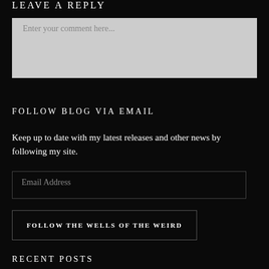LEAVE A REPLY
[Figure (other): Comment text input box with placeholder text 'Enter your comment here...']
FOLLOW BLOG VIA EMAIL
Keep up to date with my latest releases and other news by following my site.
[Figure (other): Email address input box with placeholder text 'Email Address']
[Figure (other): Button with text 'FOLLOW THE WELLS OF THE WEIRD']
RECENT POSTS